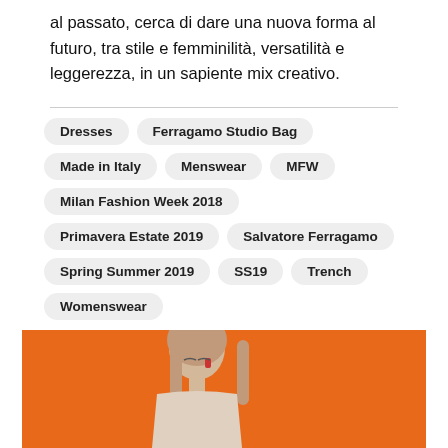al passato, cerca di dare una nuova forma al futuro, tra stile e femminilità, versatilità e leggerezza, in un sapiente mix creativo.
Dresses
Ferragamo Studio Bag
Made in Italy
Menswear
MFW
Milan Fashion Week 2018
Primavera Estate 2019
Salvatore Ferragamo
Spring Summer 2019
SS19
Trench
Womenswear
[Figure (photo): Photo of a woman with long hair against an orange background]